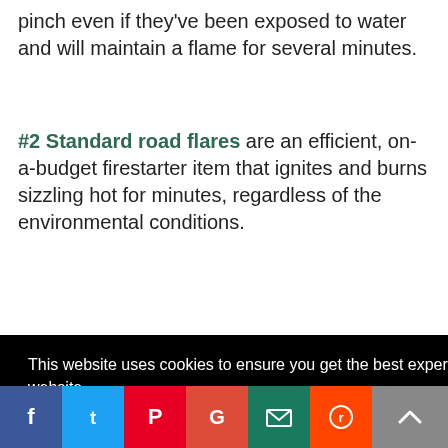pinch even if they've been exposed to water and will maintain a flame for several minutes.
#2 Standard road flares are an efficient, on-a-budget firestarter item that ignites and burns sizzling hot for minutes, regardless of the environmental conditions.
This website uses cookies to ensure you get the best experience on our website. Learn more
Got it!
suitable ch… er choice
[Figure (infographic): Social sharing bar with Facebook, Twitter, Pinterest, Google, Email, and Reddit icons, plus a scroll-to-top button]